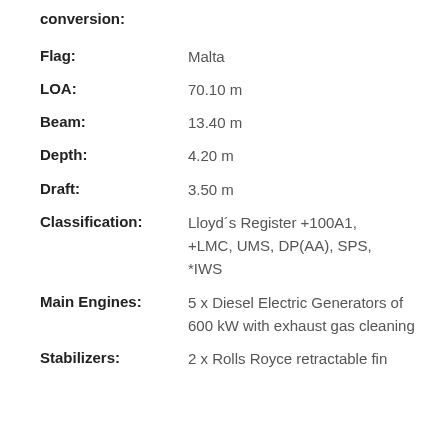conversion:
Flag: Malta
LOA: 70.10 m
Beam: 13.40 m
Depth: 4.20 m
Draft: 3.50 m
Classification: Lloyd´s Register +100A1, +LMC, UMS, DP(AA), SPS, *IWS
Main Engines: 5 x Diesel Electric Generators of 600 kW with exhaust gas cleaning
Stabilizers: 2 x Rolls Royce retractable fin